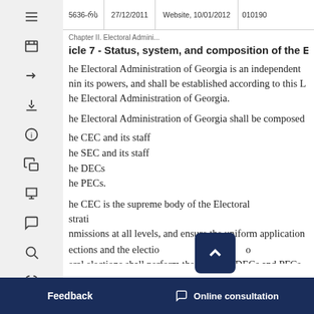5636-რს | 27/12/2011 | Website, 10/01/2012 | 010190
Article 7 - Status, system, and composition of the Electoral Administration of Georgia
The Electoral Administration of Georgia is an independent body that exercises its powers, and shall be established according to this Law on the Electoral Administration of Georgia.
The Electoral Administration of Georgia shall be composed of:
the CEC and its staff
the SEC and its staff
the DECs
the PECs.
The CEC is the supreme body of the Electoral Administration, directs the activity of commissions at all levels, and ensure the uniform application of electoral legislation during elections and the election period. During local general elections shall perform the duties of DECs and PECs